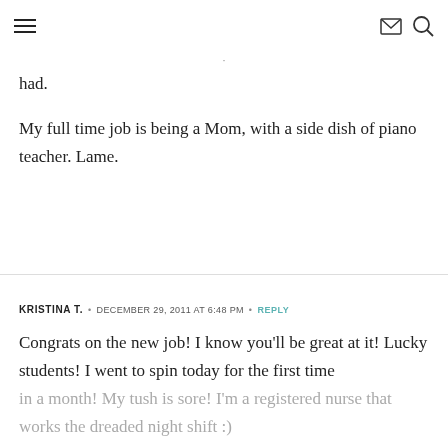≡  ✉ 🔍
had.
My full time job is being a Mom, with a side dish of piano teacher. Lame.
KRISTINA T.  •  DECEMBER 29, 2011 AT 6:48 PM  •  REPLY
Congrats on the new job! I know you'll be great at it! Lucky students! I went to spin today for the first time in a month! My tush is sore! I'm a registered nurse that works the dreaded night shift :)